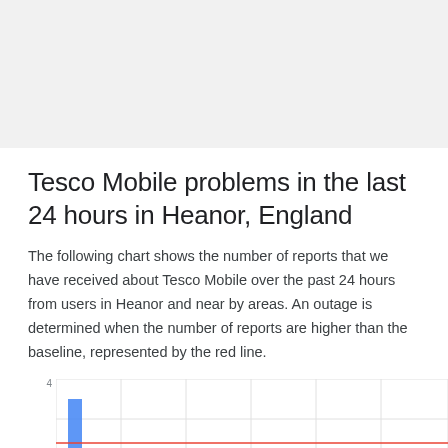Tesco Mobile problems in the last 24 hours in Heanor, England
The following chart shows the number of reports that we have received about Tesco Mobile over the past 24 hours from users in Heanor and near by areas. An outage is determined when the number of reports are higher than the baseline, represented by the red line.
[Figure (continuous-plot): Bar/line chart showing number of Tesco Mobile outage reports in the last 24 hours in Heanor, England. Y-axis shows values 3 and 4. A blue bar is visible near the left side. A red baseline line runs horizontally. Gridlines divide the chart into vertical segments.]